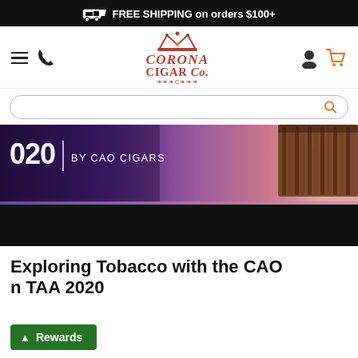FREE SHIPPING on orders $100+
[Figure (screenshot): Corona Cigar Co. website navigation bar with hamburger menu, phone icon, logo (crown with Corona Cigar Co. text), user icon, and orange cart icon]
[Figure (screenshot): Search bar with orange magnifying glass icon]
[Figure (photo): Hero banner image showing '020 | BY CAO CIGARS' text overlay on a dark purple/pink background with cigars visible on the right side, and a black lower section]
Exploring Tobacco with the CAO
n TAA 2020
Rewards